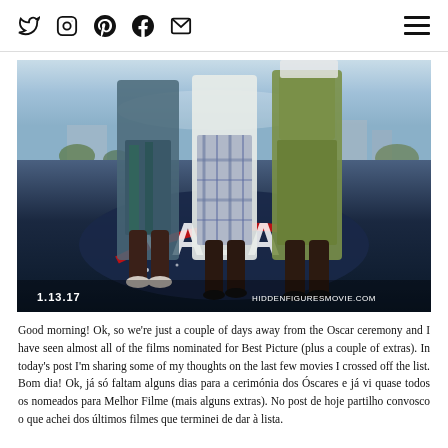Social media icons: Twitter, Instagram, Pinterest, Facebook, Email, Hamburger menu
[Figure (photo): Movie poster for Hidden Figures (1.13.17) showing three women walking on a NASA logo painted on the ground. Text at bottom left: '1.13.17' and bottom right: 'HiddenFiguresMovie.com']
Good morning! Ok, so we're just a couple of days away from the Oscar ceremony and I have seen almost all of the films nominated for Best Picture (plus a couple of extras). In today's post I'm sharing some of my thoughts on the last few movies I crossed off the list. Bom dia! Ok, já só faltam alguns dias para a cerimónia dos Óscares e já vi quase todos os nomeados para Melhor Filme (mais alguns extras). No post de hoje partilho convosco o que achei dos últimos filmes que terminei de dar à lista. You'll continue on the next chapter...